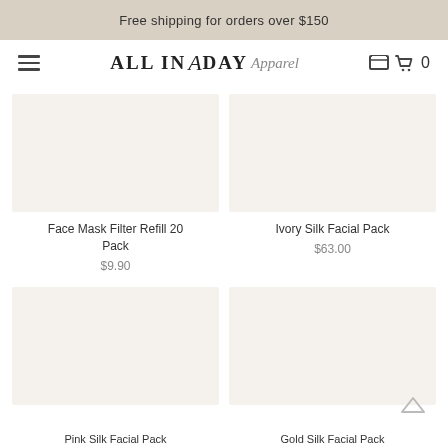Free shipping for orders over $150
[Figure (logo): ALL IN A DAY Apparel logo with serif bold caps and script Apparel text]
Face Mask Filter Refill 20 Pack
$9.90
Ivory Silk Facial Pack
$63.00
Pink Silk Facial Pack
Gold Silk Facial Pack